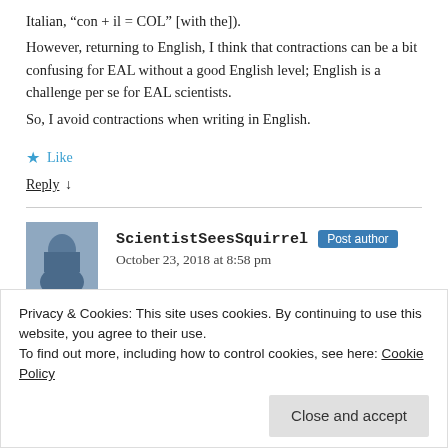Italian, “con + il = COL” [with the]).
However, returning to English, I think that contractions can be a bit confusing for EAL without a good English level; English is a challenge per se for EAL scientists.
So, I avoid contractions when writing in English.
★ Like
Reply ↓
ScientistSeesSquirrel Post author
October 23, 2018 at 8:58 pm
Privacy & Cookies: This site uses cookies. By continuing to use this website, you agree to their use.
To find out more, including how to control cookies, see here: Cookie Policy
Close and accept
because there isn’t an apostrophe! Surely “ist” required me,